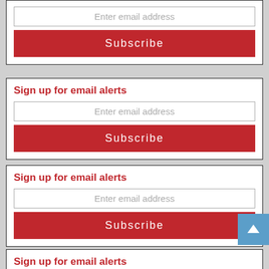[Figure (screenshot): Email subscription widget (partial, top) showing an email input field with placeholder 'Enter email address' and a red 'Subscribe' button]
[Figure (screenshot): Email subscription widget with red heading 'Sign up for email alerts', email input field with placeholder 'Enter email address', and a red 'Subscribe' button]
[Figure (screenshot): Email subscription widget with red heading 'Sign up for email alerts', email input field with placeholder 'Enter email address', and a red 'Subscribe' button]
[Figure (screenshot): Email subscription widget (partial, bottom) with red heading 'Sign up for email alerts' and a partially visible email input field with placeholder 'Enter email address']